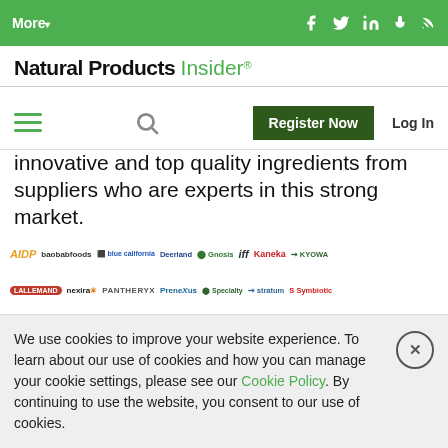More▾  [social icons: Facebook, Twitter, LinkedIn, Microphone, RSS]
[Figure (logo): Natural Products Insider logo with green 'Insider' text and registered trademark]
[Figure (screenshot): Navigation bar with hamburger menu, search icon, Register Now button, and Log In link]
innovative and top quality ingredients from suppliers who are experts in this strong market.
[Figure (logo): Sponsor logos row 1: AIDP, baobabfoods, blue california, Deerland, Gnosis, iff, Kaneka, KYOWA]
[Figure (logo): Sponsor logos row 2: LALLEMAND, nexira, PANTHERYX, Prenexus Health, Specialty, stratum, Symbiotic]
We use cookies to improve your website experience. To learn about our use of cookies and how you can manage your cookie settings, please see our Cookie Policy. By continuing to use the website, you consent to our use of cookies.